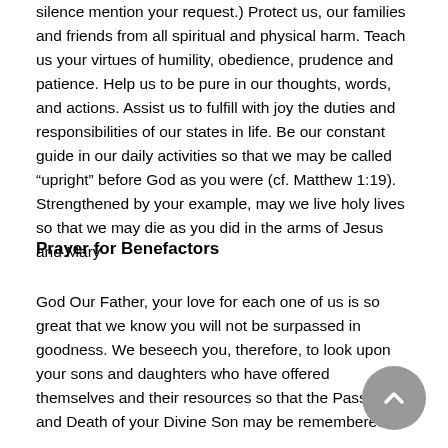silence mention your request.) Protect us, our families and friends from all spiritual and physical harm. Teach us your virtues of humility, obedience, prudence and patience. Help us to be pure in our thoughts, words, and actions. Assist us to fulfill with joy the duties and responsibilities of our states in life. Be our constant guide in our daily activities so that we may be called “upright” before God as you were (cf. Matthew 1:19). Strengthened by your example, may we live holy lives so that we may die as you did in the arms of Jesus and Mary
Prayer for Benefactors
God Our Father, your love for each one of us is so great that we know you will not be surpassed in goodness. We beseech you, therefore, to look upon your sons and daughters who have offered themselves and their resources so that the Passion and Death of your Divine Son may be remembered.